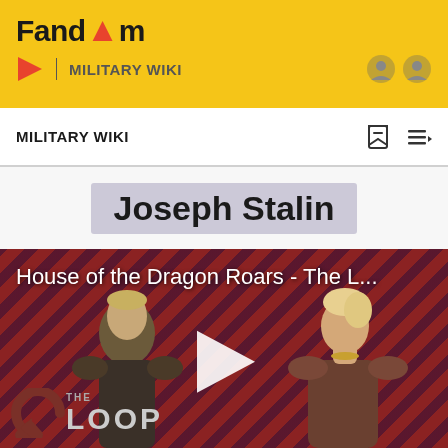Fandom
MILITARY WIKI
Joseph Stalin
[Figure (screenshot): Video thumbnail for 'House of the Dragon Roars - The L...' showing two characters against a red diagonal stripe background with The Loop logo and a play button in the center.]